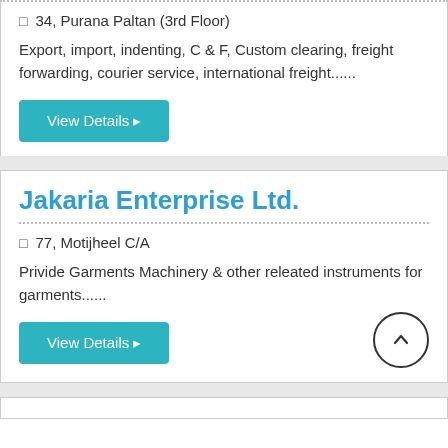34, Purana Paltan (3rd Floor)
Export, import, indenting, C & F, Custom clearing, freight forwarding, courier service, international freight......
View Details
Jakaria Enterprise Ltd.
77, Motijheel C/A
Privide Garments Machinery & other releated instruments for garments......
View Details